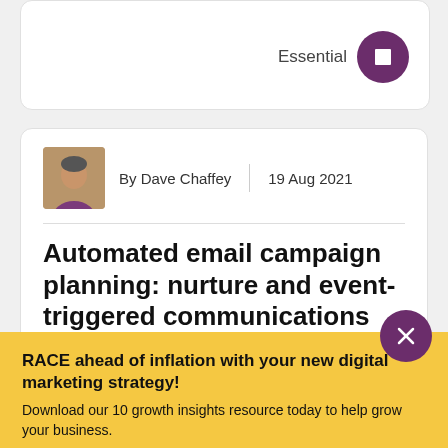Essential
By Dave Chaffey | 19 Aug 2021
Automated email campaign planning: nurture and event-triggered communications
Using tables and flow charts to visualize and plan automated email communications Research shows that behavioral email communication is a powerful technique. Planning and optimizing an automated email campaign strategy empowers marketers and managers to folliv...
RACE ahead of inflation with your new digital marketing strategy!
Download our 10 growth insights resource today to help grow your business.